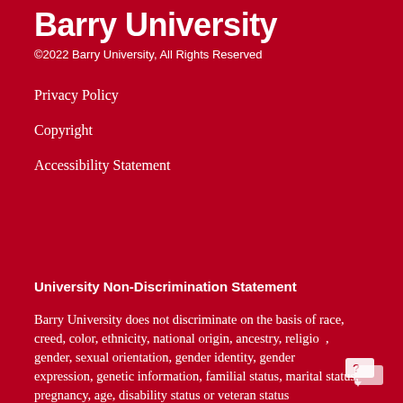Barry University
©2022 Barry University, All Rights Reserved
Privacy Policy
Copyright
Accessibility Statement
University Non-Discrimination Statement
Barry University does not discriminate on the basis of race, creed, color, ethnicity, national origin, ancestry, religion, gender, sexual orientation, gender identity, gender expression, genetic information, familial status, marital status, pregnancy, age, disability status or veteran status